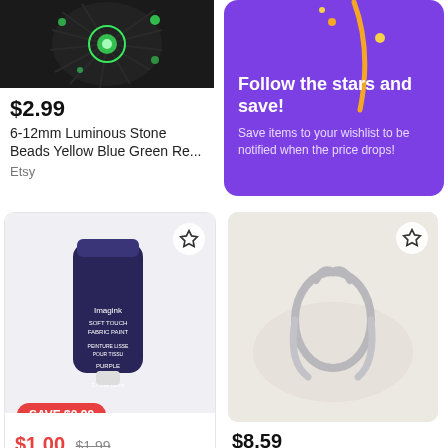[Figure (photo): Product image of luminous stone beads, dark background with glowing green circular shapes]
$2.99
6-12mm Luminous Stone Beads Yellow Blue Green Re...
Etsy
[Figure (infographic): Purple promotional banner with star decoration, orange accents]
Follow the stars and save!
Save items to your wishlist to be notified when the price drops!
[Figure (photo): Product image of Imagink Soft Touch Fabric Paint dark navy pouch on white background, with star wishlist button]
SAVE $0.99
$1.00  $1.99
Soft Touch Fabric Paint by Imagink 2.7 oz...
[Figure (photo): Product image of 925 silver ring blank with oval/circle design on cream background, with star wishlist button]
$8.59
925 Silver Ring Blank 6×7mm